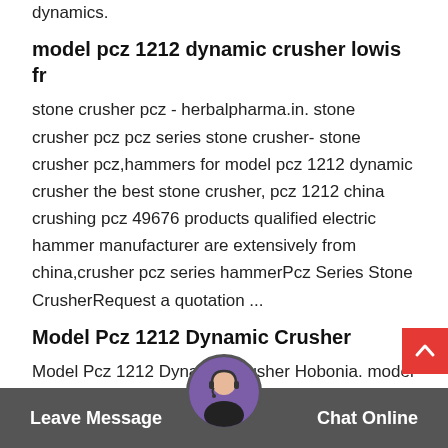dynamics.
model pcz 1212 dynamic crusher lowis fr
stone crusher pcz - herbalpharma.in. stone crusher pcz pcz series stone crusher- stone crusher pcz,hammers for model pcz 1212 dynamic crusher the best stone crusher, pcz 1212 china crushing pcz 49676 products qualified electric hammer manufacturer are extensively from china,crusher pcz series hammerPcz Series Stone CrusherRequest a quotation ...
Model Pcz 1212 Dynamic Crusher
Model Pcz 1212 Dynamic Crusher Hobonia. model pcz 1212 dynamic crusher LM Heavy Industry is a manufacturers of jaw Crusher, cone Crusher, sand making machine, vsi impact crusher, mobile crusher p… ball mill, ultrafine grind…